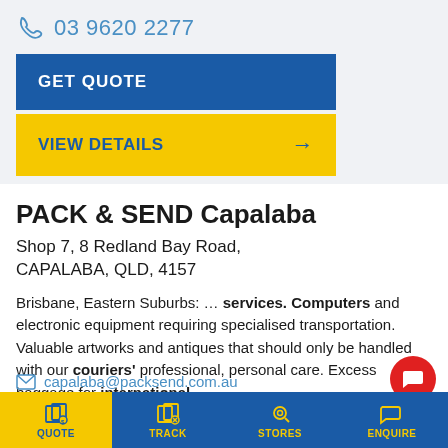03 9620 2277
GET QUOTE
VIEW DETAILS →
PACK & SEND Capalaba
Shop 7, 8 Redland Bay Road, CAPALABA, QLD, 4157
Brisbane, Eastern Suburbs: … services. Computers and electronic equipment requiring specialised transportation. Valuable artworks and antiques that should only be handled with our couriers' professional, personal care. Excess baggage for international …
capalaba@packsend.com.au
QUOTE  TRACK  STORES  ENQUIRE